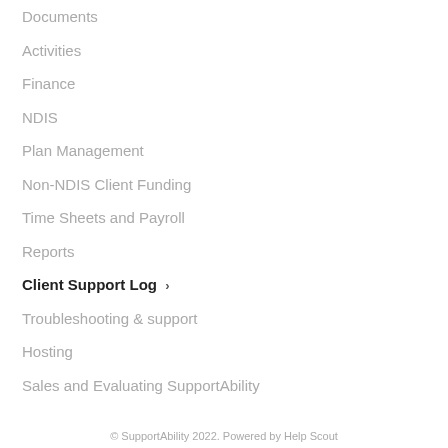Documents
Activities
Finance
NDIS
Plan Management
Non-NDIS Client Funding
Time Sheets and Payroll
Reports
Client Support Log ›
Troubleshooting & support
Hosting
Sales and Evaluating SupportAbility
© SupportAbility 2022. Powered by Help Scout